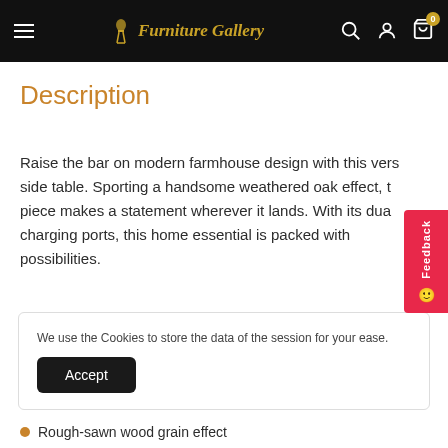Furniture Gallery - navigation header with hamburger menu, logo, search, account, and cart icons
Description
Raise the bar on modern farmhouse design with this vers side table. Sporting a handsome weathered oak effect, t piece makes a statement wherever it lands. With its dua charging ports, this home essential is packed with possibilities.
We use the Cookies to store the data of the session for your ease.
Rough-sawn wood grain effect